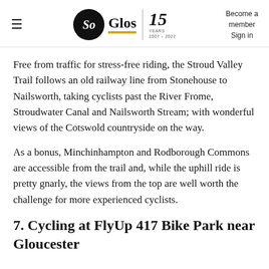So Glos | 15 YEARS 2007-2022 | Become a member Sign in
Free from traffic for stress-free riding, the Stroud Valley Trail follows an old railway line from Stonehouse to Nailsworth, taking cyclists past the River Frome, Stroudwater Canal and Nailsworth Stream; with wonderful views of the Cotswold countryside on the way.
As a bonus, Minchinhampton and Rodborough Commons are accessible from the trail and, while the uphill ride is pretty gnarly, the views from the top are well worth the challenge for more experienced cyclists.
7. Cycling at FlyUp 417 Bike Park near Gloucester